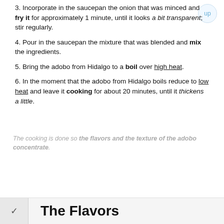3. Incorporate in the saucepan the onion that was minced and fry it for approximately 1 minute, until it looks a bit transparent; stir regularly.
4. Pour in the saucepan the mixture that was blended and mix the ingredients.
5. Bring the adobo from Hidalgo to a boil over high heat.
6. In the moment that the adobo from Hidalgo boils reduce to low heat and leave it cooking for about 20 minutes, until it thickens a little.
The cooking is done so the flavors and the texture of the adobo concentrate.
The Flavors